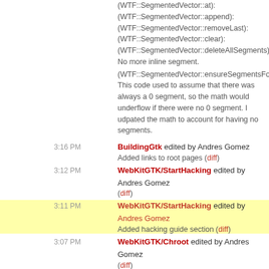(WTF::SegmentedVector::at):
(WTF::SegmentedVector::append):
(WTF::SegmentedVector::removeLast):
(WTF::SegmentedVector::clear):
(WTF::SegmentedVector::deleteAllSegments): No more inline segment.
(WTF::SegmentedVector::ensureSegmentsFor): This code used to assume that there was always a 0 segment, so the math would underflow if there were no 0 segment. I udpated the math to account for having no segments.
3:16 PM BuildingGtk edited by Andres Gomez
Added links to root pages (diff)
3:12 PM WebKitGTK/StartHacking edited by Andres Gomez
(diff)
3:11 PM WebKitGTK/StartHacking edited by Andres Gomez
Added hacking guide section (diff)
3:07 PM WebKitGTK/Chroot edited by Andres Gomez
(diff)
3:07 PM Changeset in webkit [151754] by alexis@webkit.org
21 edits in trunk/Source/WebCore
Make sure to use CSSValueID and CSSPropertyID rather than integers
https://bugs.webkit.org/show_bug.cgi?id=117481
Reviewed by Benjamin Poulain.
This will ensure that types are enforced when passing arguments in various css functions. Having a compile time check make sure that no mistakes